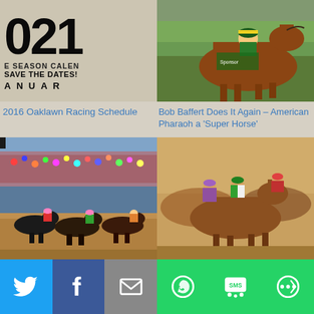[Figure (photo): 2016 season calendar poster with large '021' numbers, text 'E SEASON CALEN', 'SAVE THE DATES!', 'A N U A R']
[Figure (photo): Horse racing photo showing American Pharaoh with jockey in green and yellow colors]
2016 Oaklawn Racing Schedule
Bob Baffert Does It Again – American Pharaoh a ‘Super Horse’
[Figure (photo): Horse racing photo showing multiple horses and jockeys racing on dirt track with colorful crowd in background]
[Figure (photo): Horse racing photo showing horses in close competition during a race]
[Figure (infographic): Social sharing bar with Twitter, Facebook, Email, WhatsApp, SMS, and More buttons]